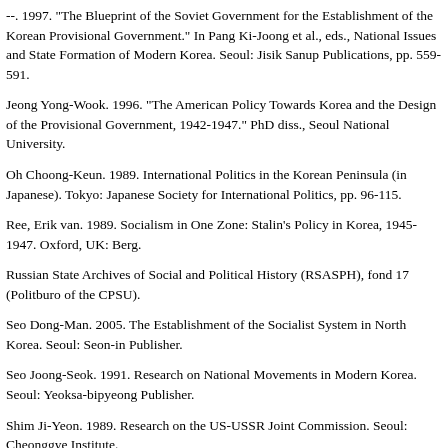--. 1997. "The Blueprint of the Soviet Government for the Establishment of the Korean Provisional Government." In Pang Ki-Joong et al., eds., National Issues and State Formation of Modern Korea. Seoul: Jisik Sanup Publications, pp. 559-591.
Jeong Yong-Wook. 1996. "The American Policy Towards Korea and the Design of the Provisional Government, 1942-1947." PhD diss., Seoul National University.
Oh Choong-Keun. 1989. International Politics in the Korean Peninsula (in Japanese). Tokyo: Japanese Society for International Politics, pp. 96-115.
Ree, Erik van. 1989. Socialism in One Zone: Stalin's Policy in Korea, 1945-1947. Oxford, UK: Berg.
Russian State Archives of Social and Political History (RSASPH), fond 17 (Politburo of the CPSU).
Seo Dong-Man. 2005. The Establishment of the Socialist System in North Korea. Seoul: Seon-in Publisher.
Seo Joong-Seok. 1991. Research on National Movements in Modern Korea. Seoul: Yeoksa-bipyeong Publisher.
Shim Ji-Yeon. 1989. Research on the US-USSR Joint Commission. Seoul: Cheonggye Institute.
Shtykov, Terentii. Shtykov Diaries, 1945-1948, manuscripts.